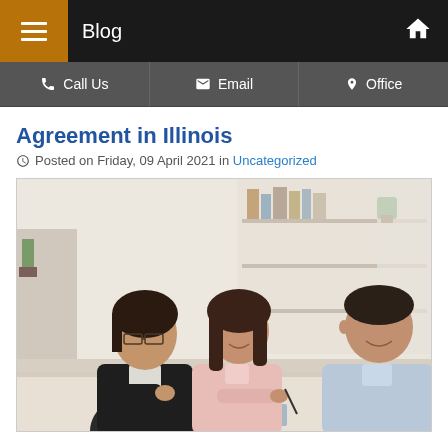Blog
Agreement in Illinois
Posted on Friday, 09 April 2021 in Uncategorized
[Figure (photo): A professional woman in a black blazer and glasses sits across a table from a young couple — a woman in a pink blouse signing documents and a smiling man in a light blue shirt — in a bright office with bookshelves in the background.]